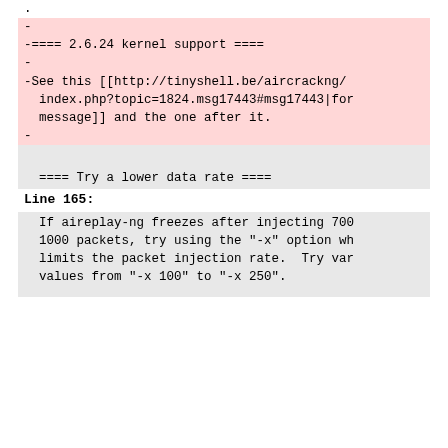.
-
-==== 2.6.24 kernel support ====
-
-See this [[http://tinyshell.be/aircrackng/index.php?topic=1824.msg17443#msg17443|for message]] and the one after it.
-
==== Try a lower data rate ====
Line 165:
If aireplay-ng freezes after injecting 700 1000 packets, try using the "-x" option wh limits the packet injection rate.  Try var values from "-x 100" to "-x 250".